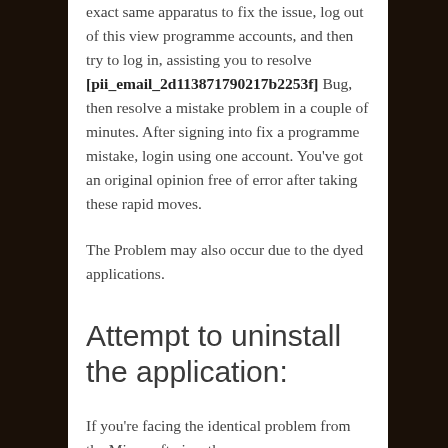exact same apparatus to fix the issue, log out of this view programme accounts, and then try to log in, assisting you to resolve [pii_email_2d113871790217b2253f] Bug, then resolve a mistake problem in a couple of minutes. After signing into fix a programme mistake, login using one account. You've got an original opinion free of error after taking these rapid moves.
The Problem may also occur due to the dyed applications.
Attempt to uninstall the application:
If you're facing the identical problem from the Microsoft view the